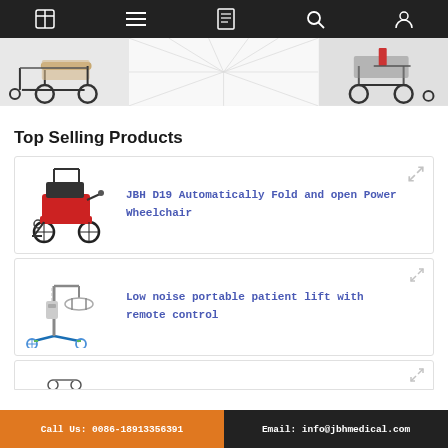Navigation bar with home, menu, catalog, search, account icons
[Figure (photo): Hero banner showing two mobility wheelchairs/scooters side by side on white background]
Top Selling Products
[Figure (photo): JBH D19 power wheelchair - black and red motorized folding wheelchair]
JBH D19 Automatically Fold and open Power Wheelchair
[Figure (photo): Low noise portable patient lift device with remote control - medical equipment with wheels]
Low noise portable patient lift with remote control
Call Us: 0086-18913356391    Email: info@jbhmedical.com